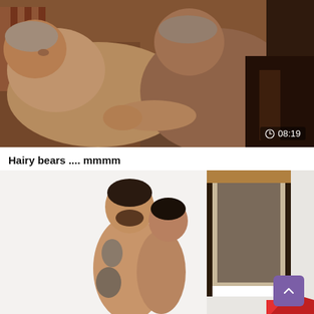[Figure (photo): Video thumbnail showing two shirtless older men on a couch, one with grey hair reclining, the other leaning over. Duration badge showing 08:19 in bottom right.]
Hairy bears .... mmmm
[Figure (photo): Video thumbnail showing two younger shirtless men standing in a room with a mirror, with partial view of decorative items at bottom.]